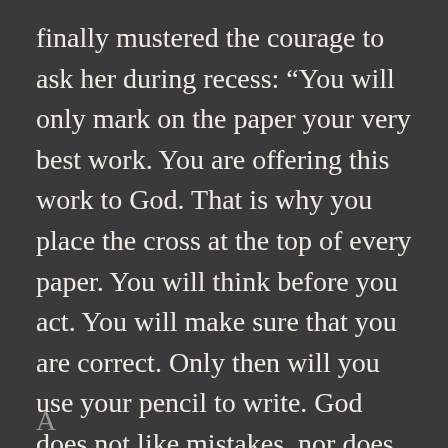finally mustered the courage to ask her during recess: “You will only mark on the paper your very best work. You are offering this work to God. That is why you place the cross at the top of every paper. You will think before you act. You will make sure that you are correct. Only then will you use your pencil to write. God does not like mistakes, nor does He smile upon hiding them.” My rebellious and authority-questioning nature collapsed in the face of her confident certainty.
A new line begins at the bottom (partial, cut off)